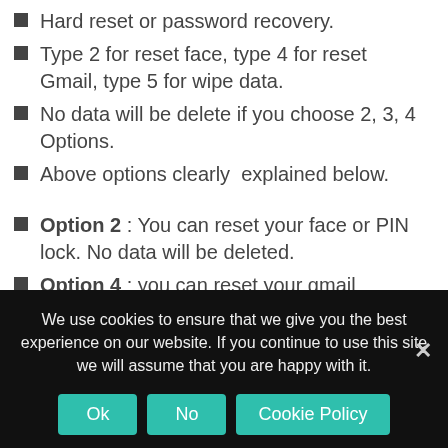Hard reset or password recovery.
Type 2 for reset face, type 4 for reset Gmail, type 5 for wipe data.
No data will be delete if you choose 2, 3, 4 Options.
Above options clearly  explained below.
Option 2 : You can reset your face or PIN lock. No data will be deleted.
Option 4 : you can reset your gmail account. Means your old Mail deleted then new mail added to your mobile.
Option 5 : Wipe all your data on your mobile. Means all data will be deleted.
Option 8 : If you see fast boot mode on your
We use cookies to ensure that we give you the best experience on our website. If you continue to use this site we will assume that you are happy with it.